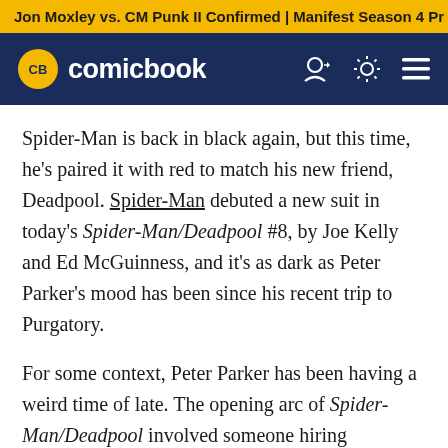Jon Moxley vs. CM Punk II Confirmed | Manifest Season 4 Pr
[Figure (logo): ComicBook.com logo with yellow CB badge on dark navy navigation bar with user, theme, and menu icons]
Spider-Man is back in black again, but this time, he's paired it with red to match his new friend, Deadpool. Spider-Man debuted a new suit in today's Spider-Man/Deadpool #8, by Joe Kelly and Ed McGuinness, and it's as dark as Peter Parker's mood has been since his recent trip to Purgatory.
For some context, Peter Parker has been having a weird time of late. The opening arc of Spider-Man/Deadpool involved someone hiring Deadpool to kill Parker, whom Wade does not realize is actually Spider-Man, Wade's personal hero. Wade agrees to do it because he's under the